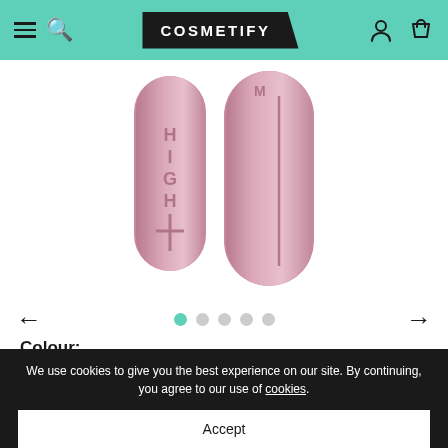COSMETIFY
[Figure (photo): Two rose gold cosmetic product cylinders (lipsticks or similar beauty products) shown side by side against a white background]
Colour:
Black - £11.62
We use cookies to give you the best experience on our site. By continuing, you agree to our use of cookies.
Accept